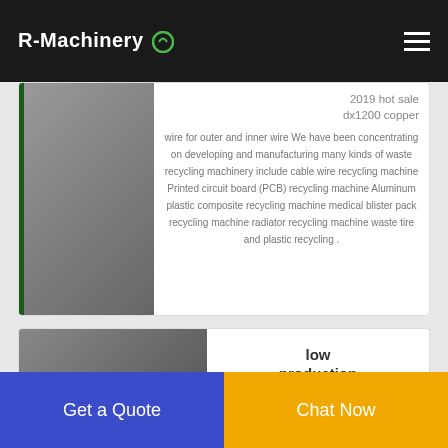R-Machinery
2019 hot sale dx1200 copper wire for outer and inner wire We have been concentrating on developing and manufacturing many kinds of waste recycling machinery include cable wire recycling machine Printed circuit board (PCB) recycling machine Aluminum plastic composite recycling machine medical blister pack recycling machine radiator recycling machine waste tire and plastic recycling .
[Figure (photo): Industrial machinery photo - top card]
[Figure (photo): Industrial facility photo - bottom card]
low production costs scrap
Get a Quote
Chat Now